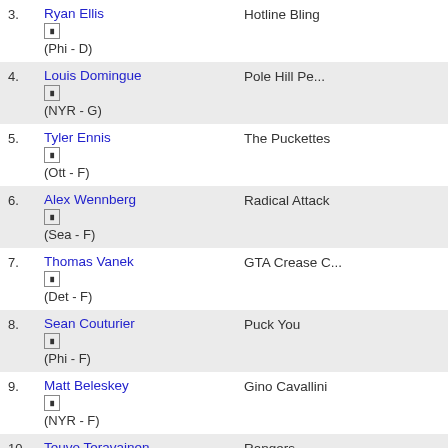3. Ryan Ellis (Phi - D) | Hotline Bling
4. Louis Domingue (NYR - G) | Pole Hill Pe...
5. Tyler Ennis (Ott - F) | The Puckettes
6. Alex Wennberg (Sea - F) | Radical Attack
7. Thomas Vanek (Det - F) | GTA Crease C...
8. Sean Couturier (Phi - F) | Puck You
9. Matt Beleskey (NYR - F) | Gino Cavallini
10. Teuvo Teravainen (Car - F) | Rangers
11. Jordan Staal (Car - F) | Dum Dum Diday